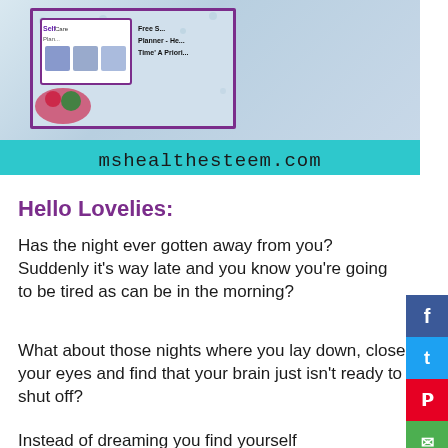[Figure (photo): Website banner image for mshealthesteem.com showing a health planner card with photos of a woman doing yoga, fruits/vegetables, and text about a Free Self-Care Planner to help make 'Me Time' a priority, against a light blue floral background]
Hello Lovelies:
Has the night ever gotten away from you? Suddenly it's way late and you know you're going to be tired as can be in the morning?
What about those nights where you lay down, close your eyes and find that your brain just isn't ready to shut off?
Instead of dreaming you find yourself